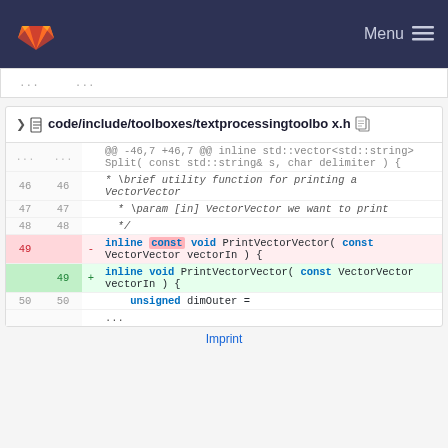Menu
[Figure (screenshot): GitLab code diff view showing changes to code/include/toolboxes/textprocessingtoolbox.h. Lines 46-50 shown. Line 49 changed: removed 'inline const void PrintVectorVector( const VectorVector vectorIn ) {' and added 'inline void PrintVectorVector( const VectorVector vectorIn ) {'. The word 'const' is highlighted in pink on the removed line.]
Imprint